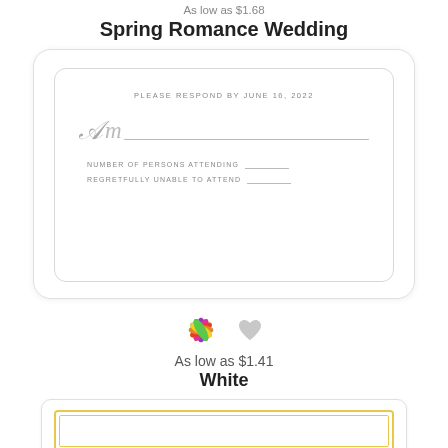As low as $1.68
Spring Romance Wedding
[Figure (illustration): Wedding RSVP card with rounded corners, showing 'PLEASE RESPOND BY JUNE 16, 2022', a script M with underline, 'NUMBER OF PERSONS ATTENDING' with blank, 'REGRETFULLY UNABLE TO ATTEND' with blank]
[Figure (illustration): Color wheel / pinwheel icon and a gray heart icon side by side]
As low as $1.41
White
[Figure (illustration): Bottom of page showing a yellow/gold bordered card partially visible]